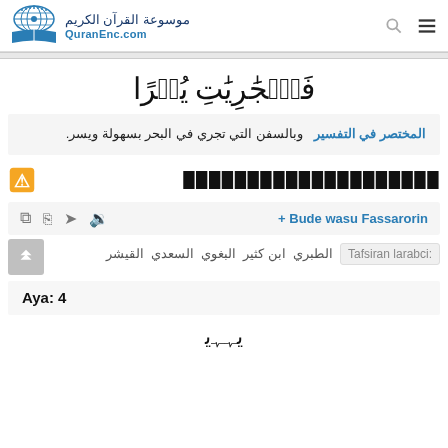موسوعة القرآن الكريم QuranEnc.com
فَٱلۡجَٰرِيَٰتِ يُسۡرًا
المختصر في التفسير  وبالسفن التي تجري في البحر بسهولة ويسر.
████████████████████
+ Bude wasu Fassarorin
Tafsiran larabci: الطبري ابن كثير البغوي السعدي القيشر
Aya: 4
Arabic bottom ayah